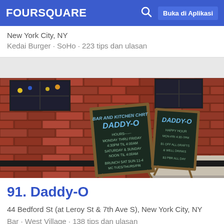FOURSQUARE  Buka di Aplikasi
New York City, NY
Kedai Burger · SoHo · 223 tips dan ulasan
[Figure (photo): Exterior photo of Daddy-O bar showing a red brick wall facade with chalkboard sandwich signs displaying the Daddy-O name and hours, windows with string lights visible.]
91. Daddy-O
44 Bedford St (at Leroy St & 7th Ave S), New York City, NY
Bar · West Village · 138 tips dan ulasan